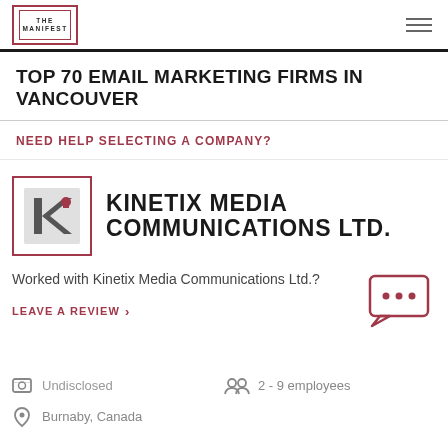THE MANIFEST
TOP 70 EMAIL MARKETING FIRMS IN VANCOUVER
NEED HELP SELECTING A COMPANY?
[Figure (logo): Kinetix Media Communications Ltd. logo — stylized K letter in grey and red inside a bordered box]
KINETIX MEDIA COMMUNICATIONS LTD.
Worked with Kinetix Media Communications Ltd.?
LEAVE A REVIEW >
Undisclosed
2 - 9 employees
Burnaby, Canada